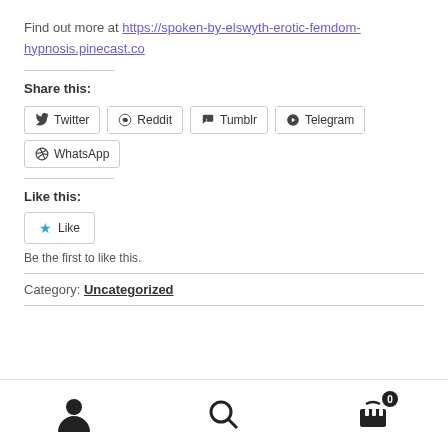Find out more at https://spoken-by-elswyth-erotic-femdom-hypnosis.pinecast.co
Share this:
Twitter Reddit Tumblr Telegram WhatsApp
Like this:
Like
Be the first to like this.
Category: Uncategorized